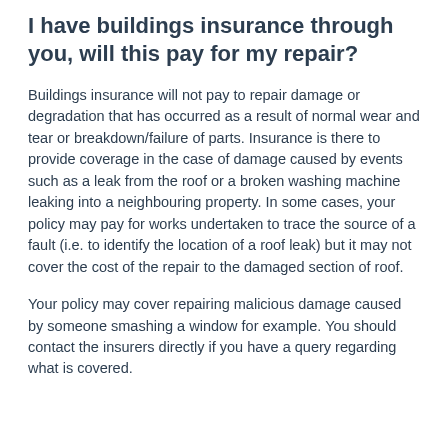I have buildings insurance through you, will this pay for my repair?
Buildings insurance will not pay to repair damage or degradation that has occurred as a result of normal wear and tear or breakdown/failure of parts.  Insurance is there to provide coverage in the case of damage caused by events such as a leak from the roof or a broken washing machine leaking into a neighbouring property.  In some cases, your policy may pay for works undertaken to trace the source of a fault (i.e. to identify the location of a roof leak) but it may not cover the cost of the repair to the damaged section of roof.
Your policy may cover repairing malicious damage caused by someone smashing a window for example. You should contact the insurers directly if you have a query regarding what is covered.